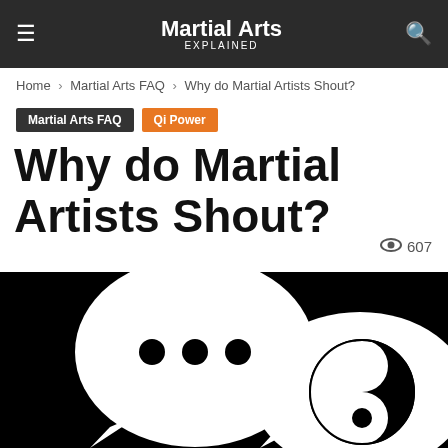Martial Arts Explained
Home › Martial Arts FAQ › Why do Martial Artists Shout?
Martial Arts FAQ  Qi Power
Why do Martial Artists Shout?
607
[Figure (illustration): Black background with two white speech bubbles. The left bubble contains three black dots (ellipsis). The right bubble contains a yin-yang symbol in black and white.]